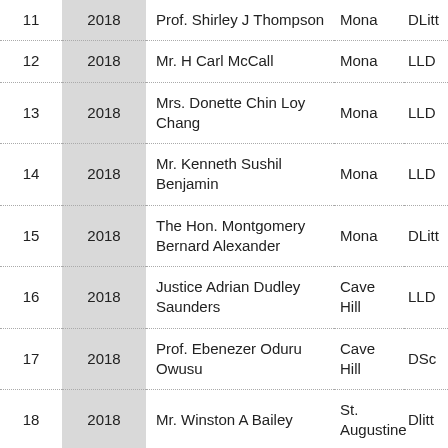| # | Year | Name | Campus | Degree |
| --- | --- | --- | --- | --- |
| 11 | 2018 | Prof. Shirley J Thompson | Mona | DLitt |
| 12 | 2018 | Mr. H Carl McCall | Mona | LLD |
| 13 | 2018 | Mrs. Donette Chin Loy Chang | Mona | LLD |
| 14 | 2018 | Mr. Kenneth Sushil Benjamin | Mona | LLD |
| 15 | 2018 | The Hon. Montgomery Bernard Alexander | Mona | DLitt |
| 16 | 2018 | Justice Adrian Dudley Saunders | Cave Hill | LLD |
| 17 | 2018 | Prof. Ebenezer Oduru Owusu | Cave Hill | DSc |
| 18 | 2018 | Mr. Winston A Bailey | St. Augustine | Dlitt |